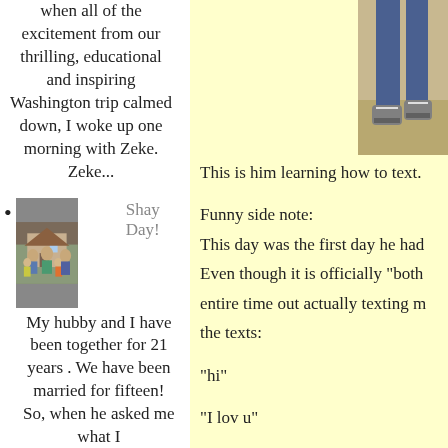when all of the excitement from our thrilling, educational and inspiring Washington trip calmed down, I woke up one morning with Zeke. Zeke...
[Figure (photo): Family photo with adults and children standing outside a house]
Shay Day!
My hubby and I have been together for 21 years . We have been married for fifteen! So, when he asked me what I
[Figure (photo): Photo of feet/legs on ground, cropped at top right of page]
This is him learning how to text.
Funny side note:
This day was the first day he had
Even though it is officially "both
entire time out actually texting m
the texts:
"hi"
"I lov u"